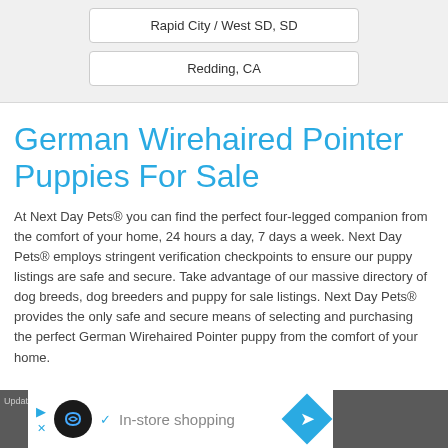Rapid City / West SD, SD
Redding, CA
German Wirehaired Pointer Puppies For Sale
At Next Day Pets® you can find the perfect four-legged companion from the comfort of your home, 24 hours a day, 7 days a week. Next Day Pets® employs stringent verification checkpoints to ensure our puppy listings are safe and secure. Take advantage of our massive directory of dog breeds, dog breeders and puppy for sale listings. Next Day Pets® provides the only safe and secure means of selecting and purchasing the perfect German Wirehaired Pointer puppy from the comfort of your home.
Updated: [date] | In-store shopping [ad banner]